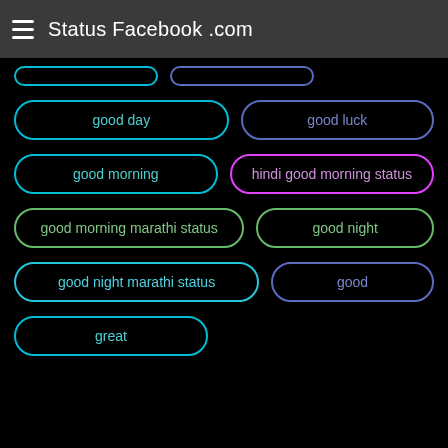Status Facebook .com
good day
good luck
good morning
hindi good morning status
good morning marathi status
good night
good night marathi status
good
great